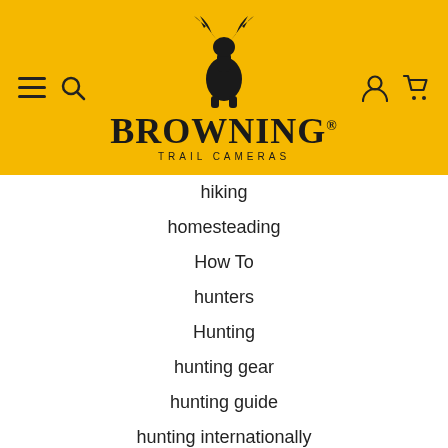[Figure (logo): Browning Trail Cameras logo with deer antler buck mark emblem, yellow/gold background, text reads BROWNING TRAIL CAMERAS]
hiking
homesteading
How To
hunters
Hunting
hunting gear
hunting guide
hunting internationally
hunting pack
hunting success story
hunting with outfitters